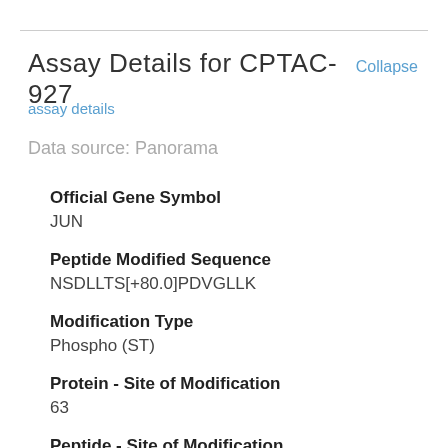Assay Details for CPTAC-927
Collapse
assay details
Data source: Panorama
Official Gene Symbol
JUN
Peptide Modified Sequence
NSDLLTS[+80.0]PDVGLLK
Modification Type
Phospho (ST)
Protein - Site of Modification
63
Peptide - Site of Modification
7